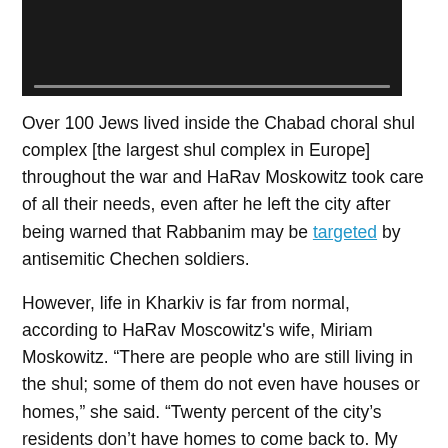[Figure (screenshot): Dark video player thumbnail with a grey progress bar at the bottom]
Over 100 Jews lived inside the Chabad choral shul complex [the largest shul complex in Europe] throughout the war and HaRav Moskowitz took care of all their needs, even after he left the city after being warned that Rabbanim may be targeted by antisemitic Chechen soldiers.
However, life in Kharkiv is far from normal, according to HaRav Moscowitz's wife, Miriam Moskowitz. “There are people who are still living in the shul; some of them do not even have houses or homes,” she said. “Twenty percent of the city’s residents don’t have homes to come back to. My husband said the streets are pretty empty, and a lot of buildings have windows boarded up, but today was the first day the government opened the subway.”